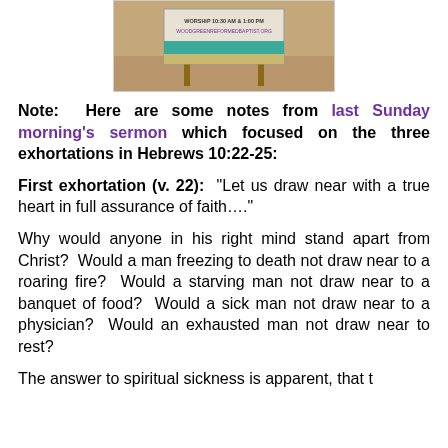[Figure (photo): A church sign on wooden posts with a teal/turquoise wave design and text, set against a dirt/grass background.]
Note: Here are some notes from last Sunday morning's sermon which focused on the three exhortations in Hebrews 10:22-25:
First exhortation (v. 22): “Let us draw near with a true heart in full assurance of faith….”
Why would anyone in his right mind stand apart from Christ? Would a man freezing to death not draw near to a roaring fire? Would a starving man not draw near to a banquet of food? Would a sick man not draw near to a physician? Would an exhausted man not draw near to rest?
The answer to spiritual sickness is apparent, that...